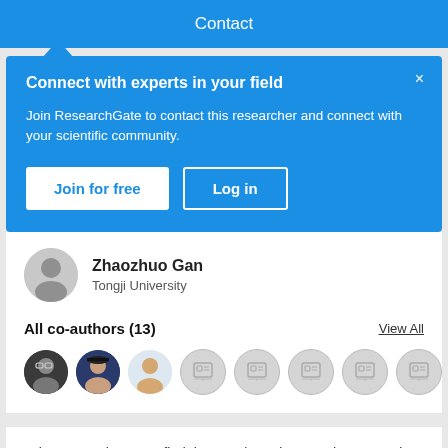Contact
Connect with experts in your field
Join ResearchGate to contact this researcher and connect with your scientific community.
Join for free   Log in
Zhaozhuo Gan
Tongji University
All co-authors (13)
View All
[Figure (illustration): Row of 8 co-author avatar circles: 3 with real photos and 5 with placeholder icons]
Join ResearchGate to find the people and research you need to help your work.